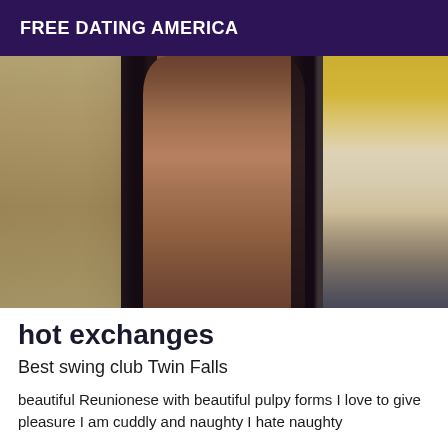FREE DATING AMERICA
[Figure (photo): A photograph showing a person's legs in dark clothing on a bed, with white bedding and a yellow garment visible on the right side, and a beige/tan floor covering on the left.]
hot exchanges
Best swing club Twin Falls
beautiful Reunionese with beautiful pulpy forms I love to give pleasure I am cuddly and naughty I hate naughty